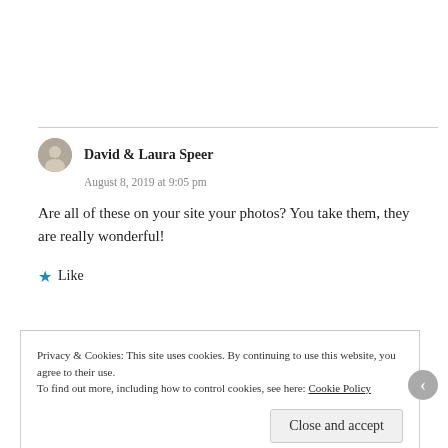David & Laura Speer
August 8, 2019 at 9:05 pm
Are all of these on your site your photos? You take them, they are really wonderful!
Like
Privacy & Cookies: This site uses cookies. By continuing to use this website, you agree to their use.
To find out more, including how to control cookies, see here: Cookie Policy
Close and accept